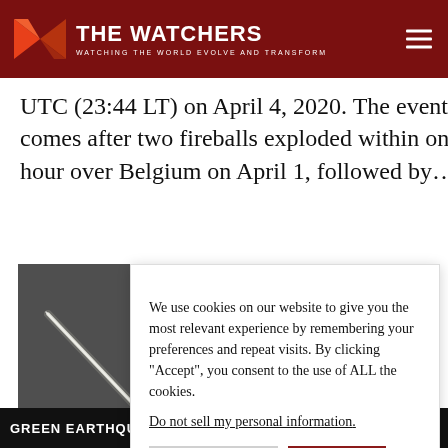THE WATCHERS — WATCHING THE WORLD EVOLVE AND TRANSFORM
UTC (23:44 LT) on April 4, 2020. The event comes after two fireballs exploded within one hour over Belgium on April 1, followed by...
[Figure (photo): Grayscale photograph of a fireball/meteor streak across a dark sky]
We use cookies on our website to give you the most relevant experience by remembering your preferences and repeat visits. By clicking "Accept", you consent to the use of ALL the cookies.
Do not sell my personal information.
GREEN EARTHQUAKE ALERT (MAGNITUDE 6